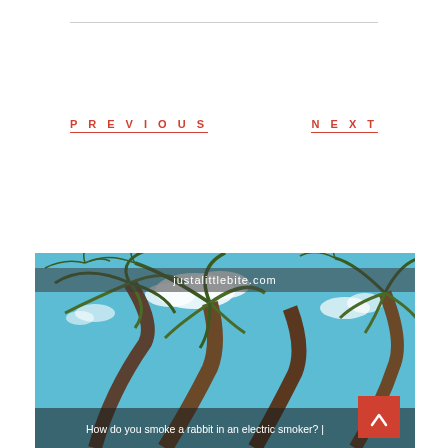PREVIOUS
NEXT
[Figure (photo): Looking up at palm trees against a bright blue sky with clouds. Website label 'justalittlebite.com' overlaid on a semi-transparent bar. Caption: 'How do you smoke a rabbit in an electric smoker? |'. Red scroll-up button in lower right corner.]
How do you smoke a rabbit in an electric smoker? |